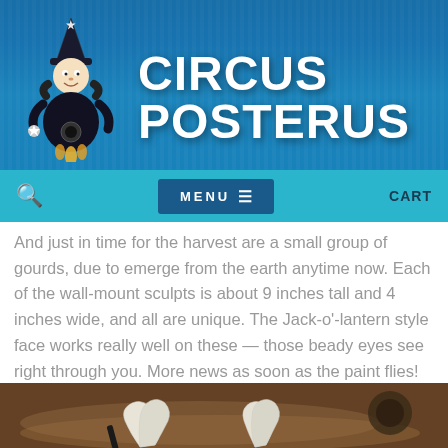CIRCUS POSTERUS
And just in time for the harvest are a small group of gourds, due to emerge from the earth anytime now. Each of the wall-mount sculpts is about 9 inches tall and 4 inches wide, and all are unique. The Jack-o'-lantern style face works really well on these — those beady eyes see right through you. More news as soon as the paint flies!
[Figure (photo): Photo showing white clay gourd sculpts partially buried in sandy earth from below, viewed from above.]